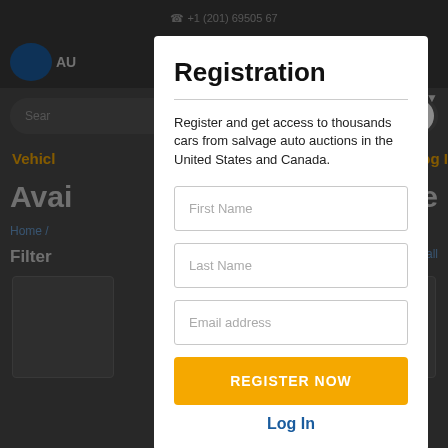[Figure (screenshot): Dimmed background of an auto auction website with navigation bar, search bar, and page content partially visible]
Registration
Register and get access to thousands cars from salvage auto auctions in the United States and Canada.
First Name
Last Name
Email address
REGISTER NOW
Log In